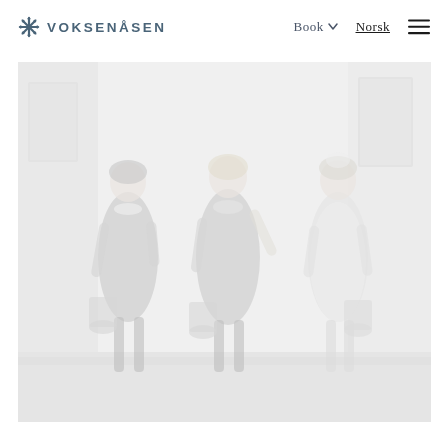VOKSENÅSEN | Book ∨ | Norsk | ☰
[Figure (photo): Faded vintage black-and-white photograph of three girls standing outdoors, each holding a bucket. They are wearing dresses; the leftmost girl wears a dark dress with white collar, the middle girl wears a dark dress, and the rightmost girl wears a light dress. They appear to be standing near a building.]